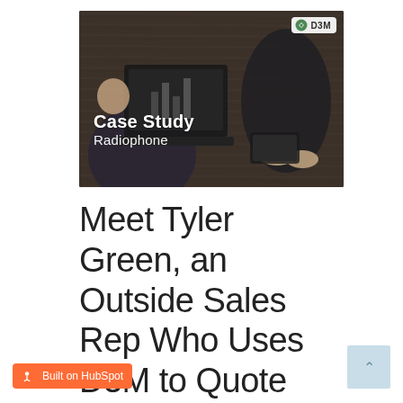[Figure (photo): Hero image for a case study about Radiophone, showing two people at a wooden table with a laptop. Text overlay reads 'Case Study Radiophone' with a D3M logo badge in the top right corner.]
Meet Tyler Green, an Outside Sales Rep Who Uses D3M to Quote
[Figure (logo): Built on HubSpot badge — orange rectangle with HubSpot sprocket icon and text 'Built on HubSpot']